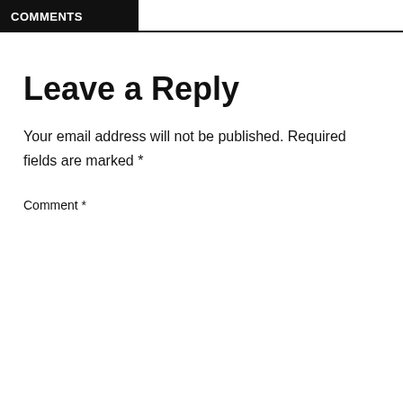COMMENTS
Leave a Reply
Your email address will not be published. Required fields are marked *
Comment *